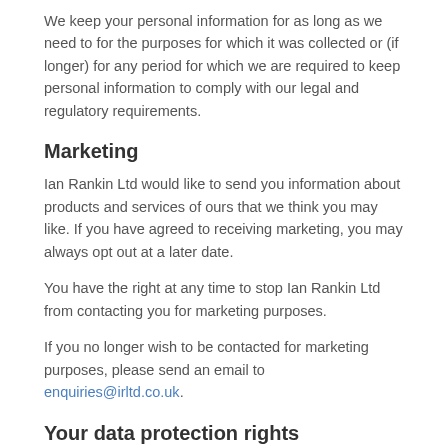We keep your personal information for as long as we need to for the purposes for which it was collected or (if longer) for any period for which we are required to keep personal information to comply with our legal and regulatory requirements.
Marketing
Ian Rankin Ltd would like to send you information about products and services of ours that we think you may like. If you have agreed to receiving marketing, you may always opt out at a later date.
You have the right at any time to stop Ian Rankin Ltd from contacting you for marketing purposes.
If you no longer wish to be contacted for marketing purposes, please send an email to enquiries@irltd.co.uk.
Your data protection rights
Ian Rankin Ltd would like to make sure you are fully aware